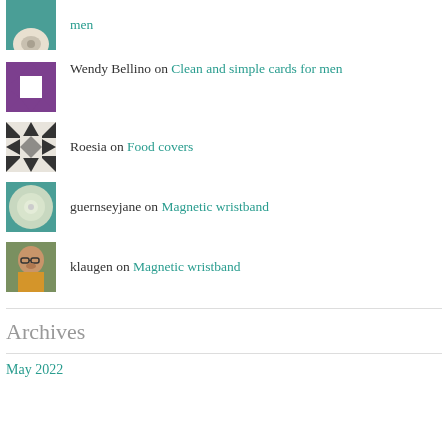men
Wendy Bellino on Clean and simple cards for men
Roesia on Food covers
guernseyjane on Magnetic wristband
klaugen on Magnetic wristband
Archives
May 2022